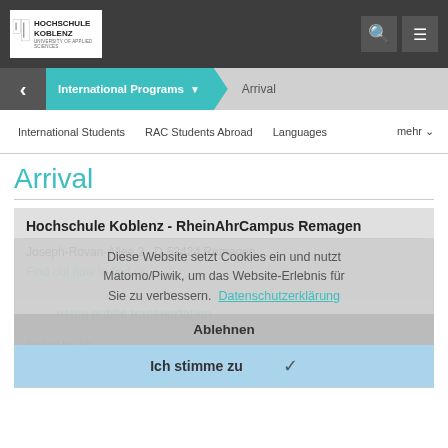Hochschule Koblenz - University of Applied Sciences
International Programs > Arrival
International Students    RAC Students Abroad    Languages    mehr
Arrival
Hochschule Koblenz - RheinAhrCampus Remagen
Joseph-Rovan-Allee 2   D-53424 Remagen
Find out how to find us...
Diese Website setzt Cookies ein und nutzt Matomo/Piwik, um das Website-Erlebnis für Sie zu verbessern.  Datenschutzerklärung
Ablehnen
Ich stimme zu
... using public transportation
Arrival by Air
Cologne/Bonn Airport (CGN)